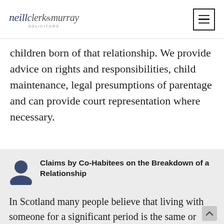neill clerk & murray solicitors
children born of that relationship. We provide advice on rights and responsibilities, child maintenance, legal presumptions of parentage and can provide court representation where necessary.
Claims by Co-Habitees on the Breakdown of a Relationship
In Scotland many people believe that living with someone for a significant period is the same or equivalent to being married to them.